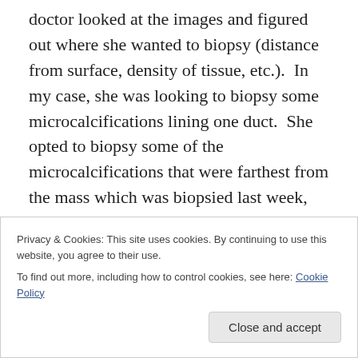doctor looked at the images and figured out where she wanted to biopsy (distance from surface, density of tissue, etc.).  In my case, she was looking to biopsy some microcalcifications lining one duct.  She opted to biopsy some of the microcalcifications that were farthest from the mass which was biopsied last week, and fairly close to my nipple (underneath the surfacce, of course) in order to determine the extent of the cancer in my body (mind you, there are TONS of these little guys-I saw them on the mammogram after the procedure).  If the calcifications are DCIS (Ductal Carcinoma In Situ) as suspected, then a
Privacy & Cookies: This site uses cookies. By continuing to use this website, you agree to their use.
To find out more, including how to control cookies, see here: Cookie Policy
Close and accept